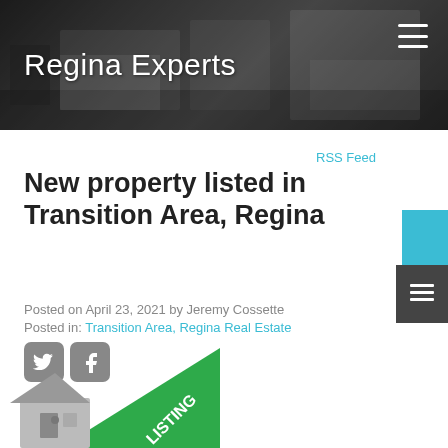[Figure (photo): Header banner with dark kitchen/living room interior photo]
Regina Experts
RSS Feed
New property listed in Transition Area, Regina
Posted on April 23, 2021 by Jeremy Cossette
Posted in: Transition Area, Regina Real Estate
[Figure (illustration): Social media icons: Twitter and Facebook]
[Figure (illustration): New listing badge ribbon (green) with house icon at bottom of page]